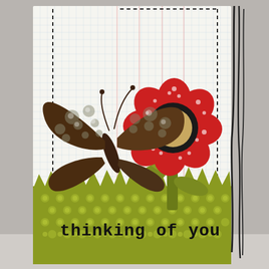[Figure (photo): A handmade greeting card photographed against a light background. The card features a grid/graph paper background with dashed black border lines. Decorative elements include: a large patterned butterfly embellishment in dark brown/chocolate tones in the upper left, a red polka-dot flower with olive green stem and leaves in the center-right, a black circle with a tan/gold center and black heart on the flower, olive green grass/dotted pattern paper along the bottom third of the card. The bottom section has olive green patterned paper with small circle dots and the stamped text 'thinking of you' in bold black typewriter font. Black ribbon/string hangs from the upper right side of the card.]